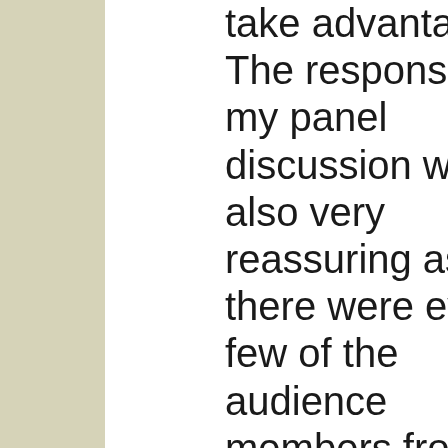take advantage of. The response to my panel discussion was also very reassuring as there were even a few of the audience members from New York who later spoke with me about later contact. I look forward to maintaining contact with the people I've met throughout the